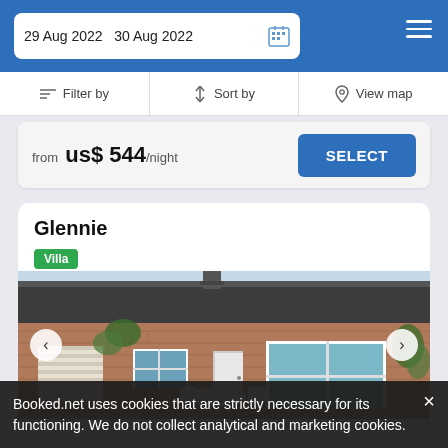29 Aug 2022  30 Aug 2022
Filter by   Sort by   View map
from us$ 544/night  SELECT
Glennie
Villa
[Figure (photo): Stone bungalow with slate roof, white sliding patio doors, white garden furniture, garage door on left, ivy growing on walls, overcast sky. Navigation arrows on left and right sides.]
Booked.net uses cookies that are strictly necessary for its functioning. We do not collect analytical and marketing cookies.